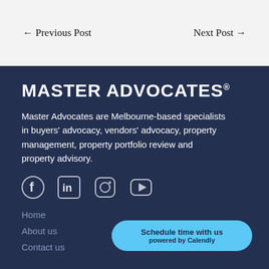← Previous Post    Next Post →
Master Advocates®
Master Advocates are Melbourne-based specialists in buyers' advocacy, vendors' advocacy, property management, property portfolio review and property advisory.
[Figure (infographic): Social media icons: Facebook, LinkedIn, Instagram, YouTube]
Home
About us
Contact us
Schedule time with us powered by Calendly